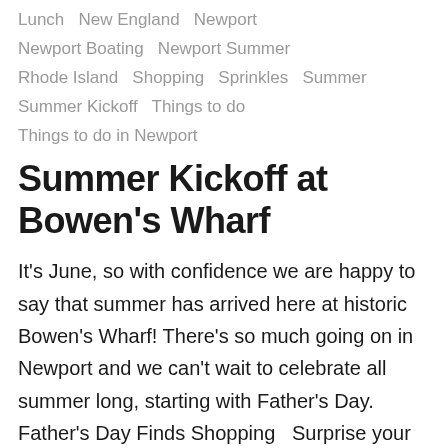Lunch  New England  Newport  Newport Boating  Newport Summer  Rhode Island  Shopping  Sprinkles  Summer  Summer Kickoff  Things to do  Things to do in Newport
Summer Kickoff at Bowen's Wharf
It's June, so with confidence we are happy to say that summer has arrived here at historic Bowen's Wharf! There's so much going on in Newport and we can't wait to celebrate all summer long, starting with Father's Day.   Father's Day Finds  Shopping  Surprise your dad this Father's Day with a day together on Bowen's Wharf! He'd want his favorite…